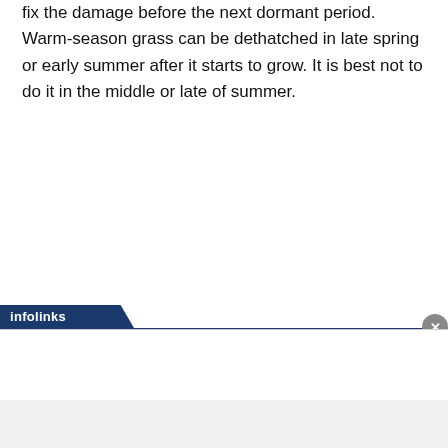fix the damage before the next dormant period. Warm-season grass can be dethatched in late spring or early summer after it starts to grow. It is best not to do it in the middle or late of summer.
[Figure (screenshot): Infolinks advertisement bar with dark blue tab labeled 'infolinks' and a close button (x) on the right, with a white ad area below and a gray footer strip at the bottom.]